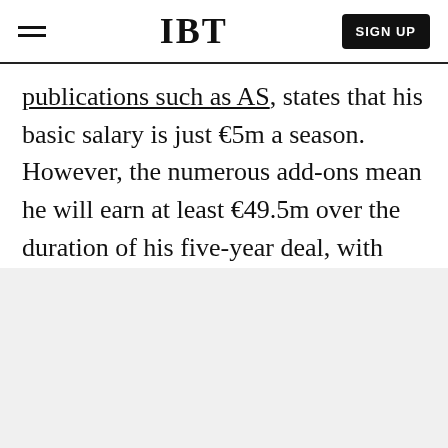IBT | SIGN UP
publications such as AS, states that his basic salary is just €5m a season. However, the numerous add-ons mean he will earn at least €49.5m over the duration of his five-year deal, with Barcelona guaranteeing to pay the difference if he doesn't earn that figure by the end of the contract.